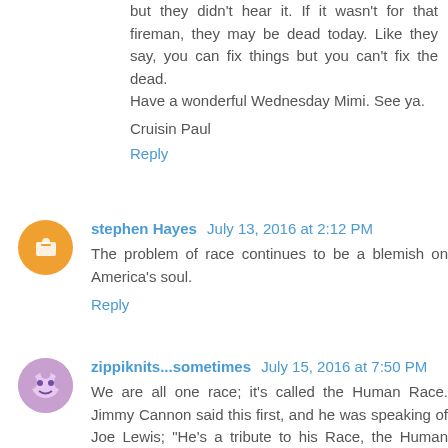but they didn't hear it. If it wasn't for that fireman, they may be dead today. Like they say, you can fix things but you can't fix the dead.
Have a wonderful Wednesday Mimi. See ya.
Cruisin Paul
Reply
stephen Hayes  July 13, 2016 at 2:12 PM
The problem of race continues to be a blemish on America's soul.
Reply
zippiknits...sometimes  July 15, 2016 at 7:50 PM
We are all one race; it's called the Human Race. Jimmy Cannon said this first, and he was speaking of Joe Lewis; "He's a tribute to his Race, the Human Race."
Loved the photo.